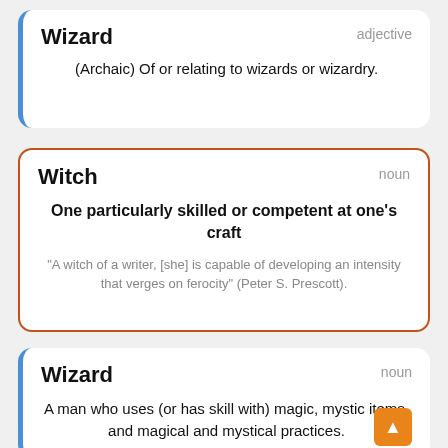Wizard
adjective
(Archaic) Of or relating to wizards or wizardry.
Witch
noun
One particularly skilled or competent at one's craft
"A witch of a writer, [she] is capable of developing an intensity that verges on ferocity" (Peter S. Prescott).
Wizard
noun
A man who uses (or has skill with) magic, mystic items, and magical and mystical practices.